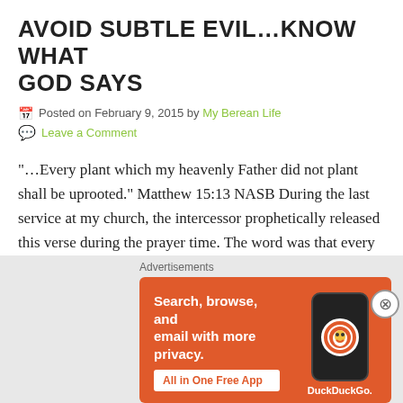AVOID SUBTLE EVIL…KNOW WHAT GOD SAYS
Posted on February 9, 2015 by My Berean Life
Leave a Comment
“…Every plant which my heavenly Father did not plant shall be uprooted.” Matthew 15:13 NASB During the last service at my church, the intercessor prophetically released this verse during the prayer time. The word was that every thing God did not plant (to grow,…
Continue Reading
Advertisements
[Figure (infographic): DuckDuckGo advertisement banner with orange background. Text reads: Search, browse, and email with more privacy. All in One Free App. Shows a phone graphic with DuckDuckGo logo.]